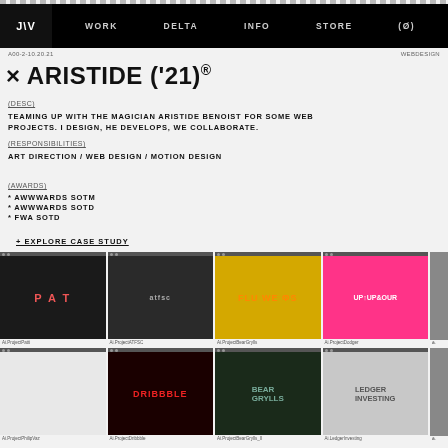J\V  WORK  DELTA  INFO  STORE  (Ø)
A00-2-10.20.21
WEBDESIGN
× ARISTIDE ('21)®
(DESC)
TEAMING UP WITH THE MAGICIAN ARISTIDE BENOIST FOR SOME WEB PROJECTS. I DESIGN, HE DEVELOPS, WE COLLABORATE.
(RESPONSIBILITIES)
ART DIRECTION / WEB DESIGN / MOTION DESIGN
(AWARDS)
* AWWWARDS SOTM
* AWWWARDS SOTD
* FWA SOTD
+ EXPLORE CASE STUDY
[Figure (screenshot): Grid of portfolio project thumbnails in two rows: top row shows dark PAT project, dark ATFSC project, yellow FLOWERS project, pink UPUPANDOUR project; bottom row shows light abstract project, red DRIBBBLE project, green BEAR GRYLLS project, gray LEDGER INVESTING project]